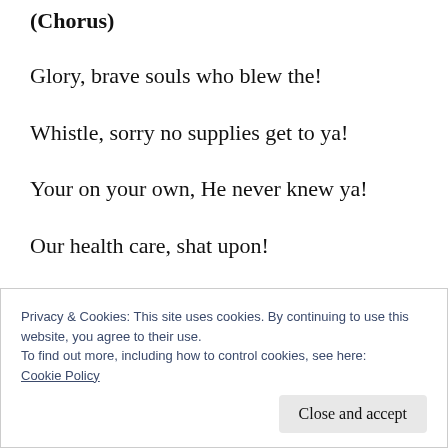(Chorus)
Glory, brave souls who blew the!
Whistle, sorry no supplies get to ya!
Your on your own, He never knew ya!
Our health care, shat upon!
Privacy & Cookies: This site uses cookies. By continuing to use this website, you agree to their use.
To find out more, including how to control cookies, see here:
Cookie Policy
Close and accept